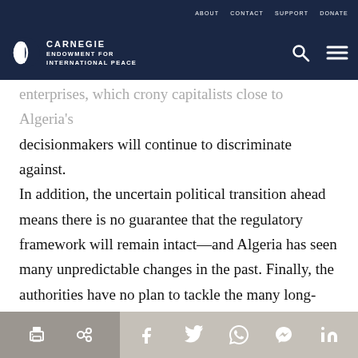ABOUT   CONTACT   SUPPORT   DONATE
CARNEGIE ENDOWMENT FOR INTERNATIONAL PEACE
enterprises, which crony capitalists close to Algeria's decisionmakers will continue to discriminate against. In addition, the uncertain political transition ahead means there is no guarantee that the regulatory framework will remain intact—and Algeria has seen many unpredictable changes in the past. Finally, the authorities have no plan to tackle the many long-standing problems that still hamper growth, such as low levels of human capital, poor economic